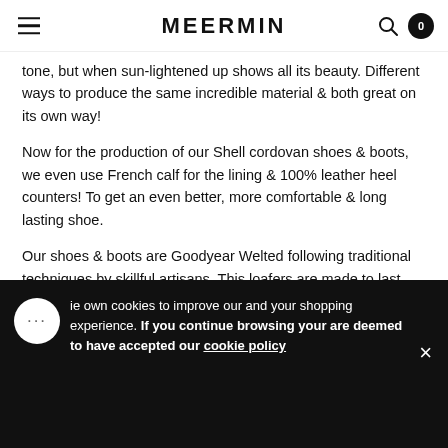MEERMIN
tone, but when sun-lightened up shows all its beauty. Different ways to produce the same incredible material & both great on its own way!
Now for the production of our Shell cordovan shoes & boots, we even use French calf for the lining & 100% leather heel counters! To get an even better, more comfortable & long lasting shoe.
Our shoes & boots are Goodyear Welted following traditional techniques by skillful artisans. This loafers are made to last and to just get better looking & more confortable over the time. As all our shoes, this loafer is fully leather lined & made using full grain vegetable tanned leather insoles.
Goodyear welted on our classic loafer RON last , that is perfectly
Size    Select a Size
BLE
ie own cookies to improve our and your shopping experience. If you continue browsing your are deemed to have accepted our cookie policy